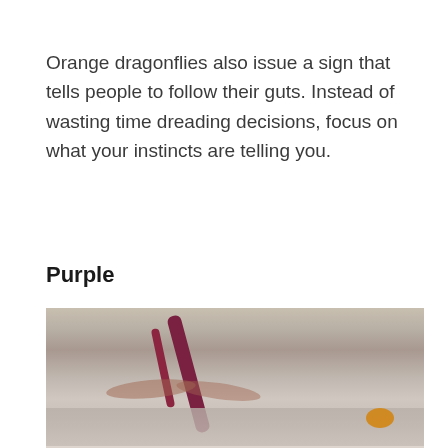Orange dragonflies also issue a sign that tells people to follow their guts. Instead of wasting time dreading decisions, focus on what your instincts are telling you.
Purple
[Figure (photo): Close-up photograph of a dark reddish-purple dragonfly resting on rocky ground. The dragonfly's body is prominently visible in the upper portion. The lower portion shows a partial blurred view of another dragonfly or the same at a different angle. An orange/yellow spot is visible in the background rocks.]